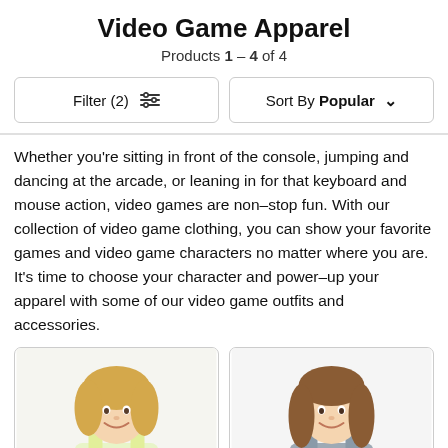Video Game Apparel
Products 1 - 4 of 4
Filter (2)  Sort By Popular
Whether you're sitting in front of the console, jumping and dancing at the arcade, or leaning in for that keyboard and mouse action, video games are non–stop fun. With our collection of video game clothing, you can show your favorite games and video game characters no matter where you are. It's time to choose your character and power–up your apparel with some of our video game outfits and accessories.
[Figure (photo): Young blonde woman wearing a yellow tank top with 'TEAM' graphic print, smiling, product photo on white background.]
[Figure (photo): Young brunette woman wearing a gray tank top with a metallic graphic print, smiling, product photo on white background.]